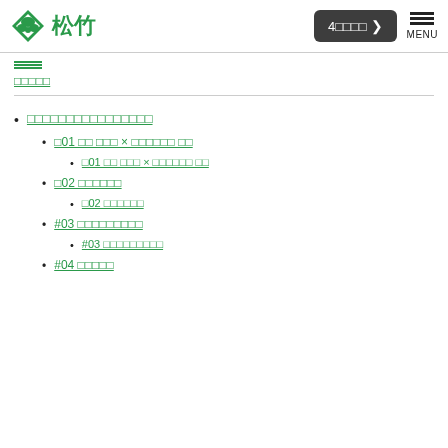松竹 | 4□□□□ > | MENU
□□□□□
□□□□□□□□□□□□□□□□
□01 □□ □□□ × □□□□□□ □□
□01 □□ □□□ × □□□□□□ □□
□02 □□□□□□
□02 □□□□□□
#03 □□□□□□□□□
#03 □□□□□□□□□
#04 □□□□□